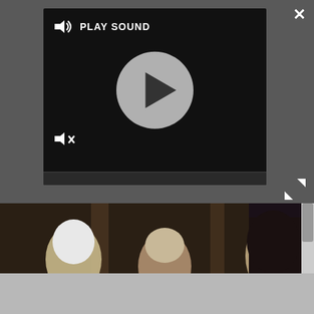[Figure (screenshot): Video player overlay on dark background with PLAY SOUND label, speaker icon, mute icon, circular play button, and progress bar]
[Figure (screenshot): Game screenshot showing three video game characters (white-haired female warrior, male witcher-type character in brown, dark-haired female) in a medieval interior setting]
[Figure (screenshot): Ulta Beauty advertisement banner strip with makeup images (red lips, makeup brush, eye makeup, Ulta logo, dramatic eye makeup) and SHOP NOW text]